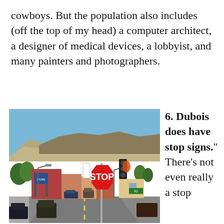cowboys. But the population also includes (off the top of my head) a computer architect, a designer of medical devices, a lobbyist, and many painters and photographers.
[Figure (photo): Street-level photo of a small western town (Dubois, Wyoming) showing a main street with vehicles, street lights, storefronts, trees, a large red STOP sign in the foreground, traffic signals, and rolling brown hills/mountains under a blue sky in the background.]
6. Dubois does have stop signs.“ There’s not even really a stop